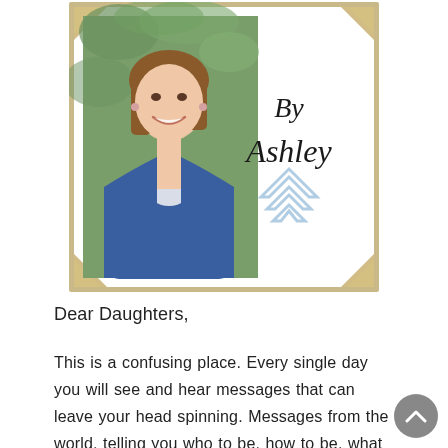[Figure (photo): A framed photo of a smiling woman with brown hair wearing a blue cardigan and white patterned top, against a green leafy background. The frame has gold corner decorations. To the right of the photo within the frame is cursive text 'By Ashley' and a light blue downward-pointing arrow/chevron icon.]
Dear Daughters,
This is a confusing place. Every single day you will see and hear messages that can leave your head spinning. Messages from the world, telling you who to be, how to be, what you should look like, what you should aspire